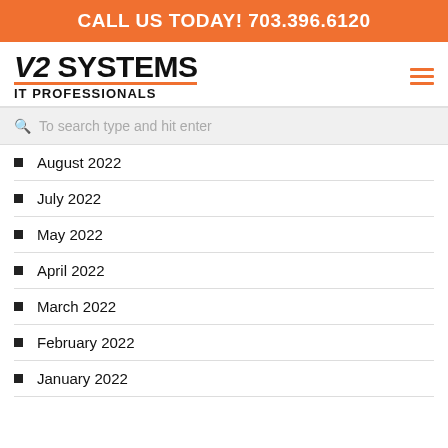CALL US TODAY! 703.396.6120
[Figure (logo): V2 Systems IT Professionals logo with orange underline and hamburger menu icon]
To search type and hit enter
August 2022
July 2022
May 2022
April 2022
March 2022
February 2022
January 2022